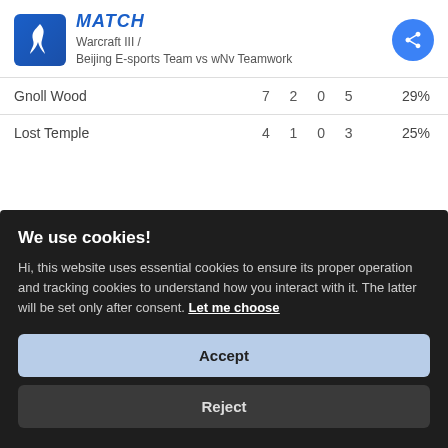MATCH
Warcraft III /
Beijing E-sports Team vs wNv Teamwork
| Map | Stats | Win% |
| --- | --- | --- |
| Gnoll Wood | 7  2  0  5 | 29% |
| Lost Temple | 4  1  0  3 | 25% |
We use cookies!
Hi, this website uses essential cookies to ensure its proper operation and tracking cookies to understand how you interact with it. The latter will be set only after consent. Let me choose
Accept
Reject
BEIJING E-SPORTS TEAM    WNV TEAMWORK